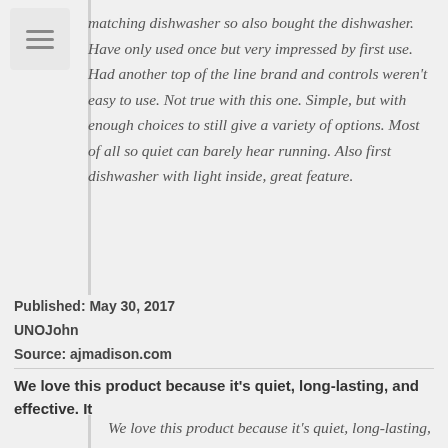[Figure (other): Hamburger menu icon (three horizontal bars) in a rounded rectangle]
matching dishwasher so also bought the dishwasher. Have only used once but very impressed by first use. Had another top of the line brand and controls weren't easy to use. Not true with this one. Simple, but with enough choices to still give a variety of options. Most of all so quiet can barely hear running. Also first dishwasher with light inside, great feature.
Published: May 30, 2017
UNOJohn
Source: ajmadison.com
We love this product because it's quiet, long-lasting, and effective. It
We love this product because it's quiet, long-lasting, and effective. It has a unique movable silverware basket that we haven't seen in other models, which